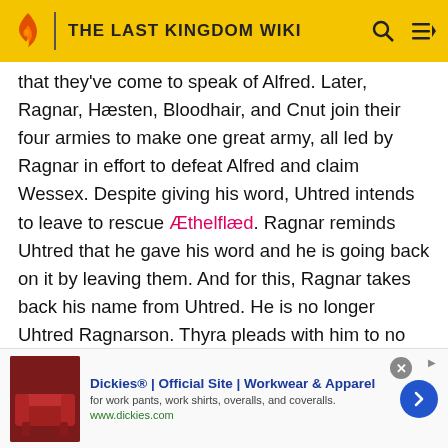THE LAST KINGDOM WIKI
that they've come to speak of Alfred. Later, Ragnar, Hæsten, Bloodhair, and Cnut join their four armies to make one great army, all led by Ragnar in effort to defeat Alfred and claim Wessex. Despite giving his word, Uhtred intends to leave to rescue Æthelflæd. Ragnar reminds Uhtred that he gave his word and he is going back on it by leaving them. And for this, Ragnar takes back his name from Uhtred. He is no longer Uhtred Ragnarson. Thyra pleads with him to no do this, but Ragnar's decision is final. ("Episode 3.3") Bloodhair challenges Uhtred to a fight to the death with Skade as the reward. Uhtred disarms Bloodhair and is moments away from killing him before
[Figure (infographic): Advertisement banner for Dickies workwear showing a red leather couch image, ad title, description and URL]